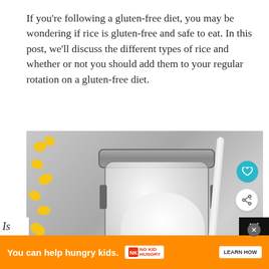If you're following a gluten-free diet, you may be wondering if rice is gluten-free and safe to eat. In this post, we'll discuss the different types of rice and whether or not you should add them to your regular rotation on a gluten-free diet.
[Figure (photo): A glass jar filled with white flour/powder, a white ceramic spoon, and scattered yellow corn kernels on a gray stone surface. Overlay elements include a teal heart icon button, a share icon button, and a 'What's Next: Are Smarties Gluten-free?' card in the bottom right corner.]
[Figure (infographic): Orange advertisement banner at the bottom reading 'You can help hungry kids.' with No Kid Hungry logo and a LEARN HOW button. A partial italic letter 'Is' is visible on the left and a black box with white tally marks logo is on the right.]